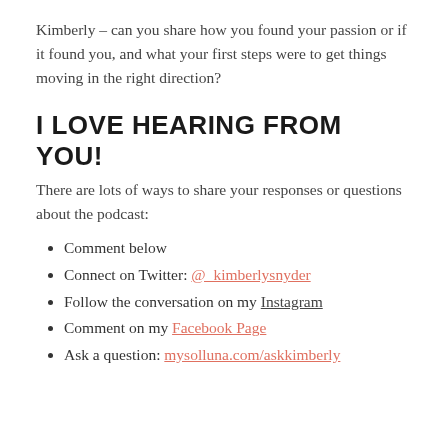Kimberly – can you share how you found your passion or if it found you, and what your first steps were to get things moving in the right direction?
I LOVE HEARING FROM YOU!
There are lots of ways to share your responses or questions about the podcast:
Comment below
Connect on Twitter: @_kimberlysnyder
Follow the conversation on my Instagram
Comment on my Facebook Page
Ask a question: mysolluna.com/askkimberly